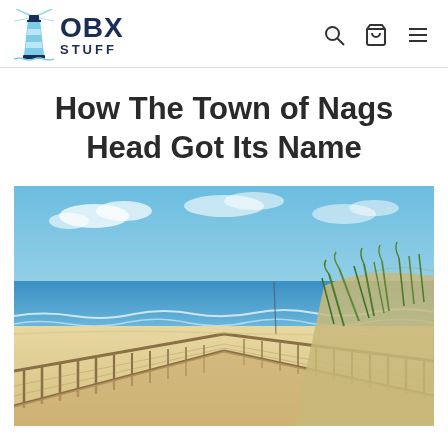OBX STUFF
How The Town of Nags Head Got Its Name
[Figure (photo): A wooden boardwalk with railings leads through sandy beach dunes with sea grass toward the ocean under a partly cloudy blue sky at Nags Head, NC.]